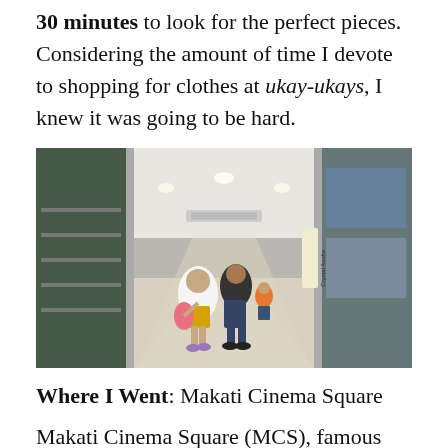30 minutes to look for the perfect pieces. Considering the amount of time I devote to shopping for clothes at ukay-ukays, I knew it was going to be hard.
[Figure (photo): Interior corridor of Makati Cinema Square shopping mall with shoppers walking between glass-fronted stalls displaying shoes, bags, and clothing.]
Where I Went: Makati Cinema Square
Makati Cinema Square (MCS), famous for its